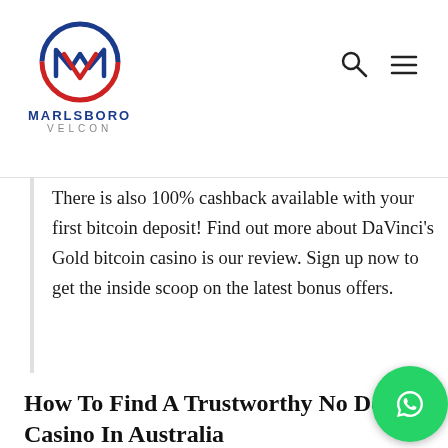[Figure (logo): Marlsboro Velcon logo: circular logo with M and V shapes in red and blue, company name MARLSBORO VELCON below]
There is also 100% cashback available with your first bitcoin deposit! Find out more about DaVinci's Gold bitcoin casino is our review. Sign up now to get the inside scoop on the latest bonus offers.
How To Find A Trustworthy No Deposit Casino In Australia
When you register informative post your player account from a casino bonus website like Bonus.net.nz, you get no deposit free spi...